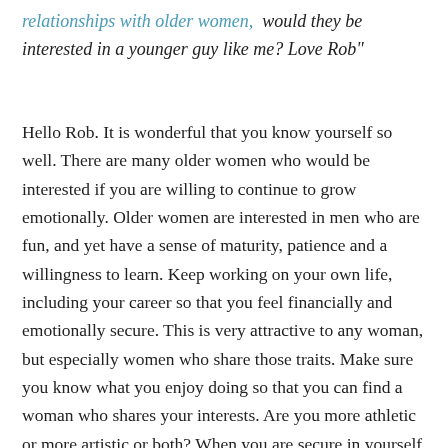relationships with older women,  would they be interested in a younger guy like me? Love Rob"
Hello Rob. It is wonderful that you know yourself so well. There are many older women who would be interested if you are willing to continue to grow emotionally. Older women are interested in men who are fun, and yet have a sense of maturity, patience and a willingness to learn. Keep working on your own life, including your career so that you feel financially and emotionally secure. This is very attractive to any woman, but especially women who share those traits. Make sure you know what you enjoy doing so that you can find a woman who shares your interests. Are you more athletic or more artistic or both? When you are secure in yourself you will find that women are attracted to your self confidence as well as your interest in them. Best of luck